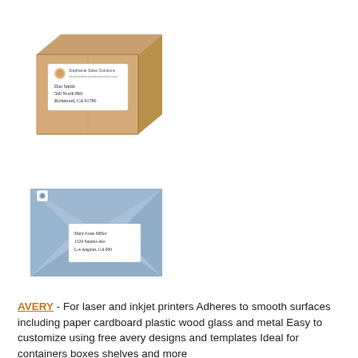[Figure (photo): A brown cardboard shipping box with a white address label on the front. The label has a decorative logo/icon and handwritten address text reading 'Dan Smith, 560 North Hill, Richmond, CA 91780'.]
[Figure (photo): A light blue envelope with a small white address label in the center containing handwritten address text. A small logo/stamp is visible in the upper left corner.]
AVERY - For laser and inkjet printers Adheres to smooth surfaces including paper cardboard plastic wood glass and metal Easy to customize using free avery designs and templates Ideal for containers boxes shelves and more